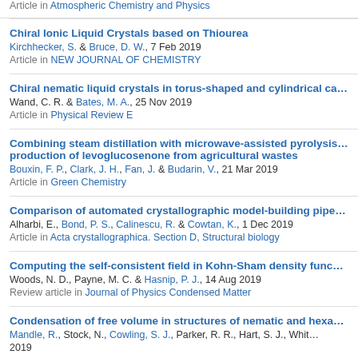Article in Atmospheric Chemistry and Physics
Chiral Ionic Liquid Crystals based on Thiourea
Kirchhecker, S. & Bruce, D. W., 7 Feb 2019
Article in NEW JOURNAL OF CHEMISTRY
Chiral nematic liquid crystals in torus-shaped and cylindrical ca...
Wand, C. R. & Bates, M. A., 25 Nov 2019
Article in Physical Review E
Combining steam distillation with microwave-assisted pyrolysis...
production of levoglucosenone from agricultural wastes
Bouxin, F. P., Clark, J. H., Fan, J. & Budarin, V., 21 Mar 2019
Article in Green Chemistry
Comparison of automated crystallographic model-building pipe...
Alharbi, E., Bond, P. S., Calinescu, R. & Cowtan, K., 1 Dec 2019
Article in Acta crystallographica. Section D, Structural biology
Computing the self-consistent field in Kohn-Sham density func...
Woods, N. D., Payne, M. C. & Hasnip, P. J., 14 Aug 2019
Review article in Journal of Physics Condensed Matter
Condensation of free volume in structures of nematic and hexa...
Mandle, R., Stock, N., Cowling, S. J., Parker, R. R., Hart, S. J., Whit...
2019